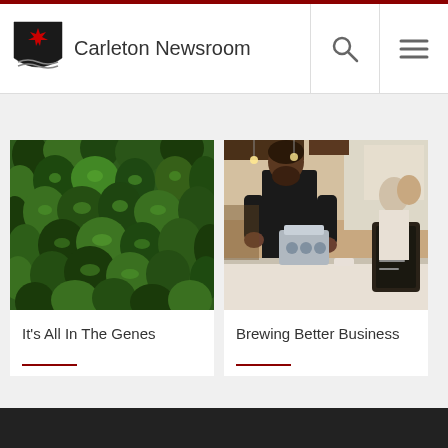Carleton Newsroom
[Figure (photo): Aerial view of a dense green conifer forest from above]
It's All In The Genes
[Figure (photo): A bearded barista working behind a coffee bar counter in a modern café]
Brewing Better Business